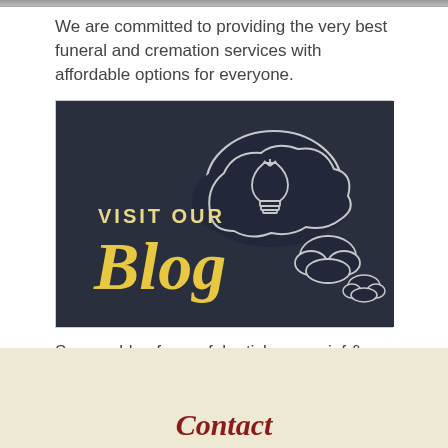[Figure (photo): Top portion of a photo, partially cropped at top edge]
We are committed to providing the very best funeral and cremation services with affordable options for everyone.
[Figure (photo): Dark chalkboard-style image with text 'VISIT OUR Blog' in gold/yellow lettering and chalk-drawn thought bubble with light bulb illustration]
See our blog for useful articles on grief & healing, and other useful funeral topics.
Contact